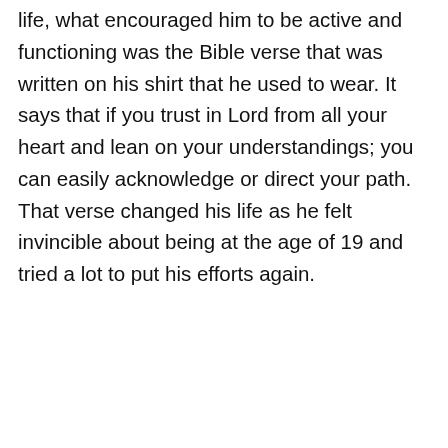life, what encouraged him to be active and functioning was the Bible verse that was written on his shirt that he used to wear. It says that if you trust in Lord from all your heart and lean on your understandings; you can easily acknowledge or direct your path. That verse changed his life as he felt invincible about being at the age of 19 and tried a lot to put his efforts again.